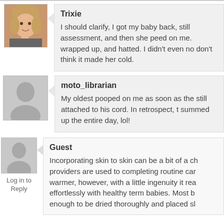[Figure (photo): Avatar photo of Trixie - woman with blonde hair]
Trixie
I should clarify, I got my baby back, still assessment, and then she peed on me. wrapped up, and hatted. I didn't even no don't think it made her cold.
[Figure (photo): Generic gray avatar silhouette for moto_librarian]
moto_librarian
My oldest pooped on me as soon as the still attached to his cord. In retrospect, t summed up the entire day, lol!
[Figure (photo): Generic gray avatar silhouette for Guest]
Log in to Reply
Guest
Incorporating skin to skin can be a bit of a ch providers are used to completing routine car warmer, however, with a little ingenuity it rea effortlessly with healthy term babies. Most b enough to be dried thoroughly and placed sl